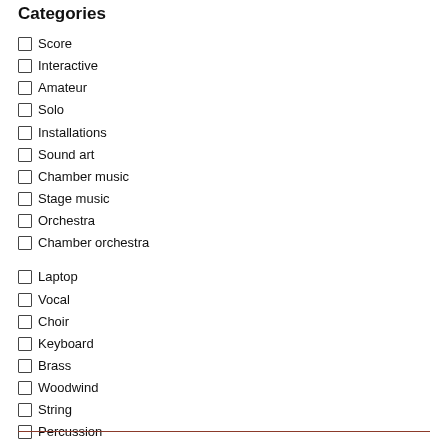Categories
Score
Interactive
Amateur
Solo
Installations
Sound art
Chamber music
Stage music
Orchestra
Chamber orchestra
Laptop
Vocal
Choir
Keyboard
Brass
Woodwind
String
Percussion